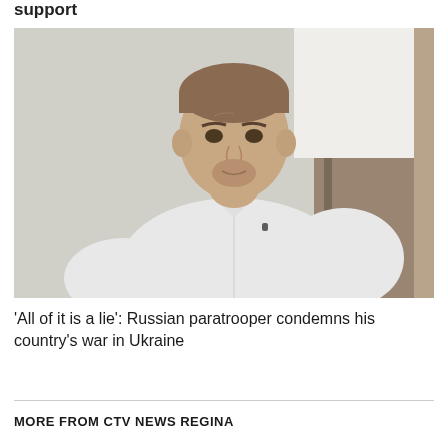support
[Figure (photo): A muscular man with short hair wearing a white button-up shirt, sitting indoors against a light wall with a wooden panel visible on the right side. He appears to be speaking or being interviewed, with a small lapel microphone visible.]
'All of it is a lie': Russian paratrooper condemns his country's war in Ukraine
MORE FROM CTV NEWS REGINA